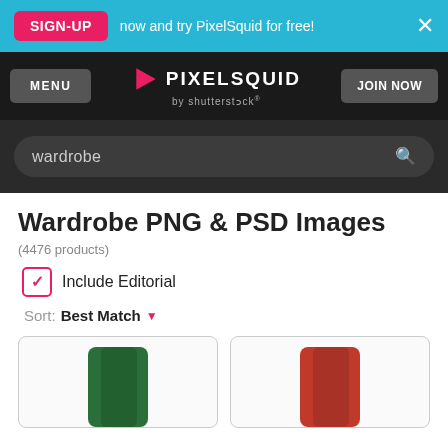SIGN-UP now and try PixelSquid for free!
MENU | PIXELSQUID by shutterstock | JOIN NOW
wardrobe
Wardrobe PNG & PSD Images
(4476 products)
Include Editorial
Sort: Best Match
[Figure (photo): Green wardrobe/container product image (partially visible, cropped at bottom)]
[Figure (photo): Red wardrobe/container product image (partially visible, cropped at bottom)]